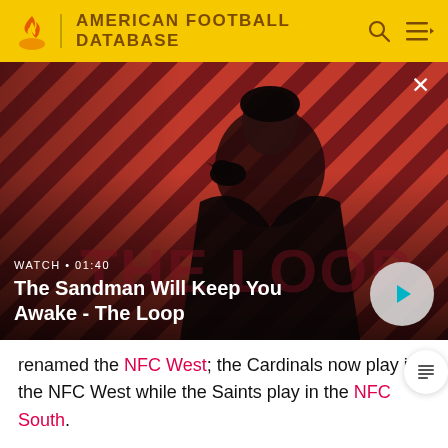AMERICAN FOOTBALL DATABASE
[Figure (screenshot): Video thumbnail showing a dramatic figure in black with a crow on their shoulder against a red and dark diagonal striped background. Text overlay: WATCH • 01:40 / The Sandman Will Keep You Awake - The Loop. Play button visible bottom right.]
renamed the NFC West; the Cardinals now play in the NFC West while the Saints play in the NFC South.
Although the Bengals won the first AFC Central Division Championship in 1970, the Steelers dominated the division for most of the 1970s...